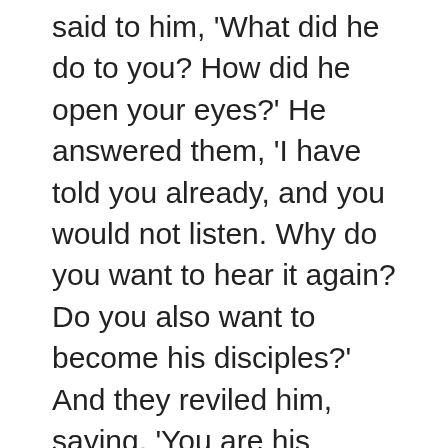said to him, 'What did he do to you? How did he open your eyes?' He answered them, 'I have told you already, and you would not listen. Why do you want to hear it again? Do you also want to become his disciples?' And they reviled him, saying, 'You are his disciple, but we are disciples of Moses. We know that God has spoken to Moses, but as for this man, we do not know where he comes from.' The man answered, 'Why, this is an amazing thing! You do not know where he comes from, and yet he opened my eyes. We know that God does not listen to sinners, but if